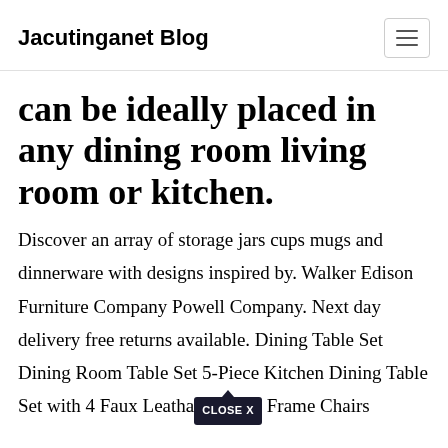Jacutinganet Blog
can be ideally placed in any dining room living room or kitchen.
Discover an array of storage jars cups mugs and dinnerware with designs inspired by. Walker Edison Furniture Company Powell Company. Next day delivery free returns available. Dining Table Set Dining Room Table Set 5-Piece Kitchen Dining Table Set with 4 Faux Leatha [CLOSE X] Frame Chairs